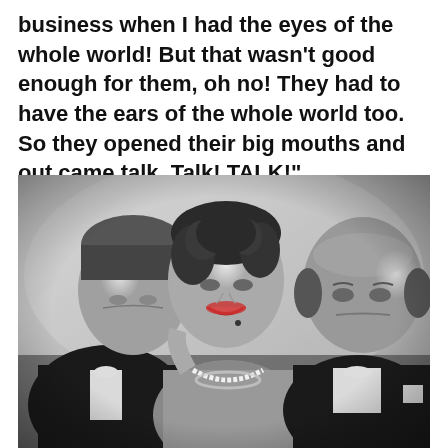business when I had the eyes of the whole world! But that wasn't good enough for them, oh no! They had to have the ears of the whole world too. So they opened their big mouths and out came talk. Talk! TALK!"
[Figure (photo): Black and white photograph of three people in formal attire: a man in a tuxedo on the left looking down, a woman in the center with curly hair, bare shoulders, and a pearl necklace smiling, and a bald man in a tuxedo on the right with a stern expression.]